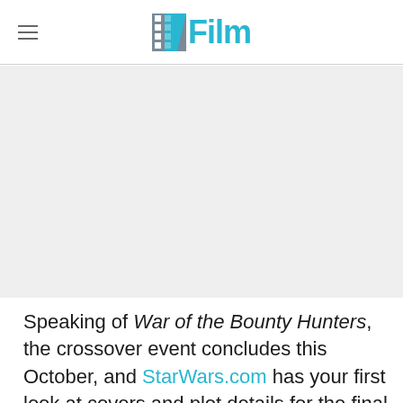/Film
[Figure (other): Gray placeholder image area]
Speaking of War of the Bounty Hunters, the crossover event concludes this October, and StarWars.com has your first look at covers and plot details for the final issues in the series, including Star Wars: War of the Bounty